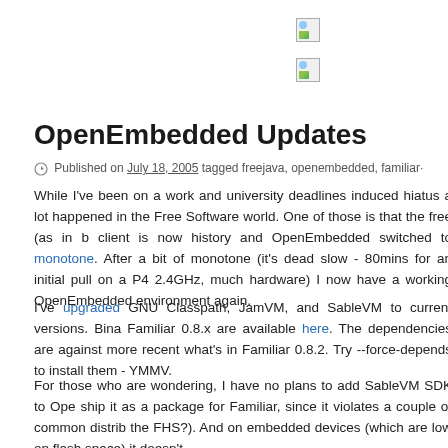[Figure (illustration): Broken/placeholder image icon, top area]
[Figure (illustration): Broken/placeholder image icon, second row]
OpenEmbedded Updates
Published on July 18, 2005 tagged freejava, openembedded, familiar·
While I've been on a work and university deadlines induced hiatus a lot happened in the Free Software world. One of those is that the free (as in b client is now history and OpenEmbedded switched to monotone. After a bit of monotone (it's dead slow - 80mins for an initial pull on a P4 2.4GHz, much hardware) I now have a working OpenEmbedded environment again.
I've upgraded GNU Classpath, JamVM, and SableVM to current versions. Bina Familiar 0.8.x are available here. The dependencies are against more recent what's in Familiar 0.8.2. Try --force-depends to install them - YMMV.
For those who are wondering, I have no plans to add SableVM SDK to Ope ship it as a package for Familiar, since it violates a couple of common distrib the FHS?). And on embedded devices (which are low on flash space) it doesn't